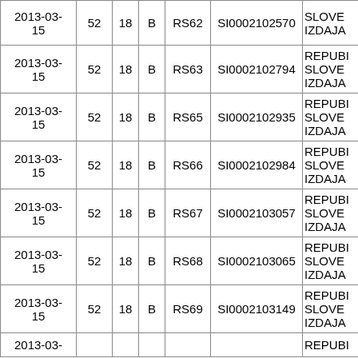| Date | 52 | 18 | B | RS code | ISIN | Name |
| --- | --- | --- | --- | --- | --- | --- |
| 2013-03-15 | 52 | 18 | B | RS62 | SI0002102570 | SLOVE... IZDAJA |
| 2013-03-15 | 52 | 18 | B | RS63 | SI0002102794 | REPUBI... SLOVE... IZDAJA |
| 2013-03-15 | 52 | 18 | B | RS65 | SI0002102935 | REPUBI... SLOVE... IZDAJA |
| 2013-03-15 | 52 | 18 | B | RS66 | SI0002102984 | REPUBI... SLOVE... IZDAJA |
| 2013-03-15 | 52 | 18 | B | RS67 | SI0002103057 | REPUBI... SLOVE... IZDAJA |
| 2013-03-15 | 52 | 18 | B | RS68 | SI0002103065 | REPUBI... SLOVE... IZDAJA |
| 2013-03-15 | 52 | 18 | B | RS69 | SI0002103149 | REPUBI... SLOVE... IZDAJA |
| 2013-03-... |  |  |  |  |  | REPUBI... |